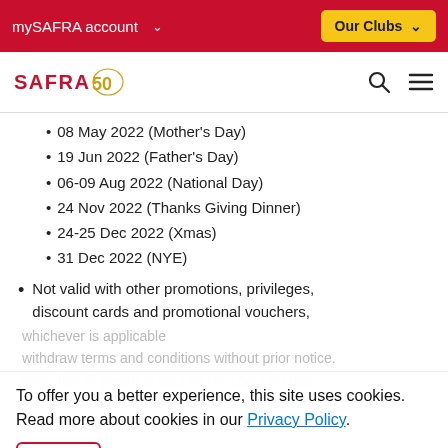mySAFRA account   Our Clubs
[Figure (logo): SAFRA 50th anniversary logo with red SAFRA text and gold 50 emblem]
08 May 2022 (Mother's Day)
19 Jun 2022 (Father's Day)
06-09 Aug 2022 (National Day)
24 Nov 2022 (Thanks Giving Dinner)
24-25 Dec 2022 (Xmas)
31 Dec 2022 (NYE)
Not valid with other promotions, privileges, discount cards and promotional vouchers,
whichever is applicable
To offer you a better experience, this site uses cookies. Read more about cookies in our Privacy Policy.
withdraw terms and conditions without prior notice.
collection of personal data by Merchant for this promotion is strictly for their own business